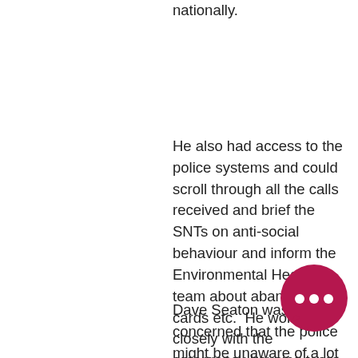nationally.
He also had access to the police systems and could scroll through all the calls received and brief the SNTs on anti-social behaviour and inform the Environmental Health team about abandoned cards etc.  He worked closely with the emergency housing team and the ease of access to information helped to speed up the decision making process.
Dave Seaton was concerned that the police might be unaware of a lot of anti-social behaviour incidents which landlords did not report and which was therefore not on the police database.
[Figure (illustration): Dark pink/magenta speech bubble chat icon with three dots (ellipsis) inside, positioned in bottom-right area of the page.]